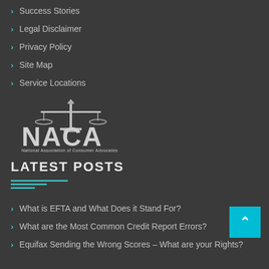Success Stories
Legal Disclaimer
Privacy Policy
Site Map
Service Locations
[Figure (logo): NACA - National Association of Consumer Advocates logo in white/grey on dark background]
LATEST POSTS
[Figure (illustration): Teal decorative horizontal lines divider]
What is EFTA and What Does it Stand For?
What are the Most Common Credit Report Errors?
Equifax Sending the Wrong Scores – What are your Rights?